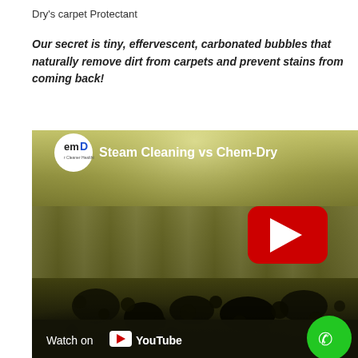Dry's carpet Protectant
Our secret is tiny, effervescent, carbonated bubbles that naturally remove dirt from carpets and prevent stains from coming back!
[Figure (screenshot): YouTube video thumbnail for 'Steam Cleaning vs Chem-Dry' with emDr logo, play button, and Watch on YouTube bar at bottom. Background shows macro image of bubbles/carbonated liquid on carpet fibers. Green phone call button in bottom right corner.]